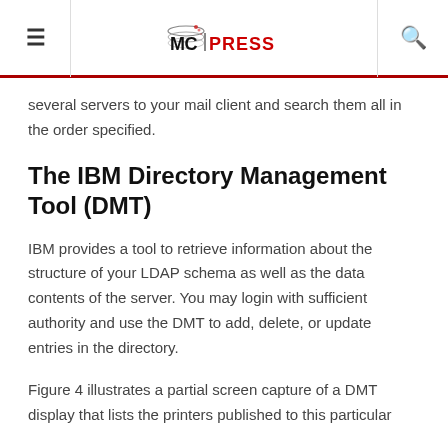MC PRESS
several servers to your mail client and search them all in the order specified.
The IBM Directory Management Tool (DMT)
IBM provides a tool to retrieve information about the structure of your LDAP schema as well as the data contents of the server. You may login with sufficient authority and use the DMT to add, delete, or update entries in the directory.
Figure 4 illustrates a partial screen capture of a DMT display that lists the printers published to this particular